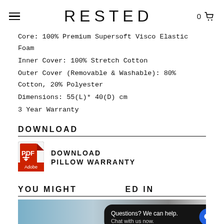RESTED
Core: 100% Premium Supersoft Visco Elastic Foam
Inner Cover: 100% Stretch Cotton
Outer Cover (Removable & Washable): 80% Cotton, 20% Polyester
Dimensions: 55(L)* 40(D) cm
3 Year Warranty
DOWNLOAD
[Figure (logo): PDF Adobe logo icon]
DOWNLOAD
PILLOW WARRANTY
YOU MIGHT ALSO BE INTERESTED IN
[Figure (photo): Photo of a person with a chat overlay bubble saying 'Questions? We can help. Chat with us now.']
Questions? We can help. Chat with us now.